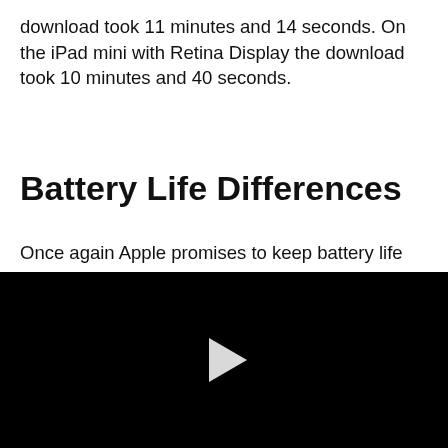download took 11 minutes and 14 seconds. On the iPad mini with Retina Display the download took 10 minutes and 40 seconds.
Battery Life Differences
Once again Apple promises to keep battery life the same from generation to generation of devices. The iPad mini with Retina Display promises 10 hours of battery life (9 hours browsing on LTE). This is a remarkable feat of engineering for this new 7 inch Tablet to keep things the
[Figure (screenshot): Black video player area with a white play button triangle in the center]